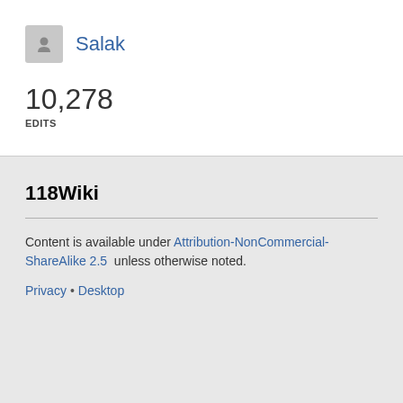[Figure (illustration): Gray square avatar icon with a smiley face]
Salak
10,278
EDITS
118Wiki
Content is available under Attribution-NonCommercial-ShareAlike 2.5 unless otherwise noted.
Privacy • Desktop